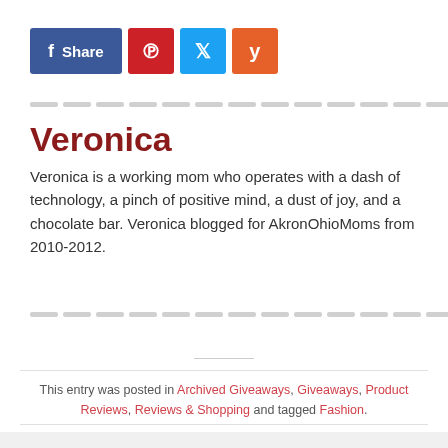[Figure (other): Social share buttons: Facebook Share (blue), Pinterest (red), Twitter (light blue), Yummly (orange)]
Veronica
Veronica is a working mom who operates with a dash of technology, a pinch of positive mind, a dust of joy, and a chocolate bar. Veronica blogged for AkronOhioMoms from 2010-2012.
This entry was posted in Archived Giveaways, Giveaways, Product Reviews, Reviews & Shopping and tagged Fashion.